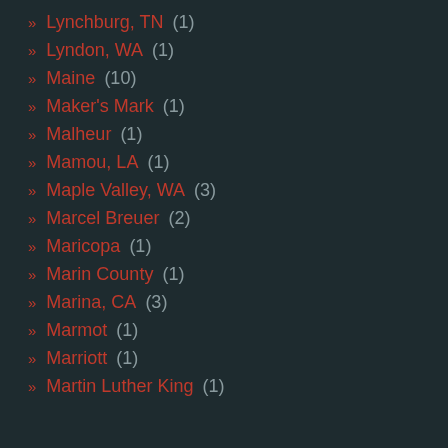Lynchburg, TN (1)
Lyndon, WA (1)
Maine (10)
Maker's Mark (1)
Malheur (1)
Mamou, LA (1)
Maple Valley, WA (3)
Marcel Breuer (2)
Maricopa (1)
Marin County (1)
Marina, CA (3)
Marmot (1)
Marriott (1)
Martin Luther King (1)